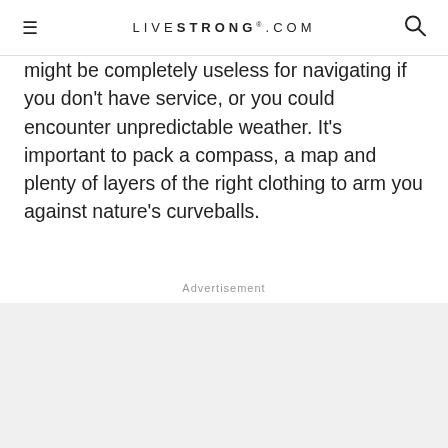LIVESTRONG.COM
might be completely useless for navigating if you don't have service, or you could encounter unpredictable weather. It's important to pack a compass, a map and plenty of layers of the right clothing to arm you against nature's curveballs.
Advertisement
[Figure (other): Advertisement placeholder area with light gray background]